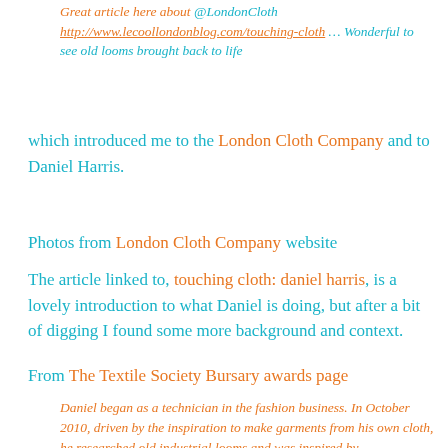Great article here about @LondonCloth http://www.lecoollondonblog.com/touching-cloth … Wonderful to see old looms brought back to life
which introduced me to the London Cloth Company and to Daniel Harris.
Photos from London Cloth Company website
The article linked to, touching cloth: daniel harris, is a lovely introduction to what Daniel is doing, but after a bit of digging I found some more background and context.
From The Textile Society Bursary awards page
Daniel began as a technician in the fashion business. In October 2010, driven by the inspiration to make garments from his own cloth, he researched old industrial looms and was inspired by